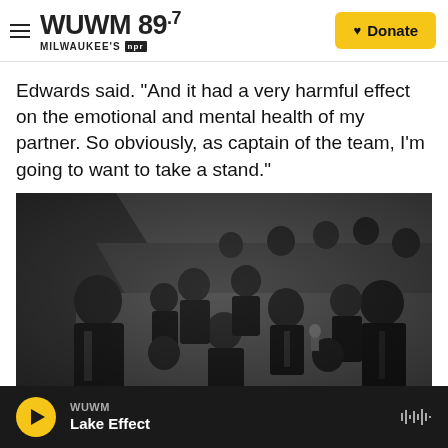WUWM 89.7 Milwaukee's NPR — Donate
Edwards said. "And it had a very harmful effect on the emotional and mental health of my partner. So obviously, as captain of the team, I'm going to want to take a stand."
[Figure (photo): Black and white group photo of approximately 15 people dressed in suits and formal attire, seated and standing on stairs indoors.]
WUWM Lake Effect